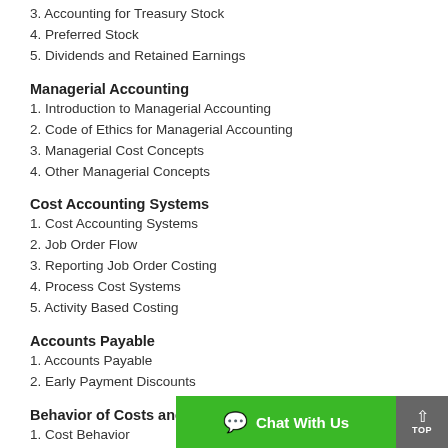3. Accounting for Treasury Stock
4. Preferred Stock
5. Dividends and Retained Earnings
Managerial Accounting
1. Introduction to Managerial Accounting
2. Code of Ethics for Managerial Accounting
3. Managerial Cost Concepts
4. Other Managerial Concepts
Cost Accounting Systems
1. Cost Accounting Systems
2. Job Order Flow
3. Reporting Job Order Costing
4. Process Cost Systems
5. Activity Based Costing
Accounts Payable
1. Accounts Payable
2. Early Payment Discounts
Behavior of Costs and Expenses
1. Cost Behavior
2. Break-Even Analysis and Co...